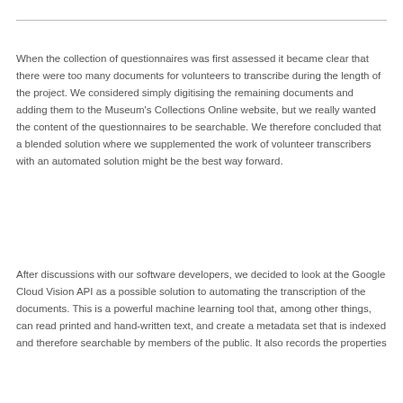When the collection of questionnaires was first assessed it became clear that there were too many documents for volunteers to transcribe during the length of the project. We considered simply digitising the remaining documents and adding them to the Museum's Collections Online website, but we really wanted the content of the questionnaires to be searchable. We therefore concluded that a blended solution where we supplemented the work of volunteer transcribers with an automated solution might be the best way forward.
After discussions with our software developers, we decided to look at the Google Cloud Vision API as a possible solution to automating the transcription of the documents. This is a powerful machine learning tool that, among other things, can read printed and hand-written text, and create a metadata set that is indexed and therefore searchable by members of the public. It also records the properties